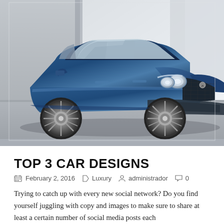[Figure (photo): A blue Bentley Continental GT luxury sedan photographed from a front-left angle against a light grey architectural background. The car is parked on a cobblestone surface.]
TOP 3 CAR DESIGNS
February 2, 2016   Luxury   administrador   0
Trying to catch up with every new social network? Do you find yourself juggling with copy and images to make sure to share at least a certain number of social media posts each